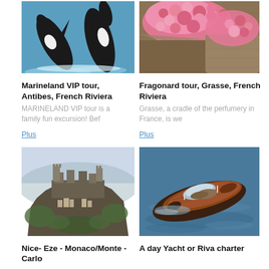[Figure (photo): Two orca whales leaping out of blue water]
[Figure (photo): Colorful flowers in burlap sacks at a market]
Marineland VIP tour, Antibes, French Riviera
Fragonard tour, Grasse, French Riviera
MARINELAND VIP tour is a family fun excursion! Bef
Grasse, a cradle of the perfumery in France, is we
Plus
Plus
[Figure (photo): Aerial view of a hilltop medieval village/castle]
[Figure (photo): Aerial view of a luxury wooden Riva speedboat on water]
Nice- Eze - Monaco/Monte -Carlo
A day Yacht or Riva charter